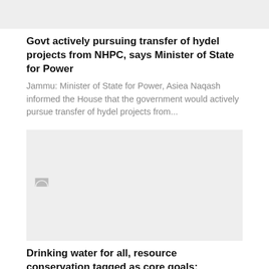[Figure (photo): Gray placeholder image at top of page]
Govt actively pursuing transfer of hydel projects from NHPC, says Minister of State for Power
Jammu: Minister of State for Power, Asiea Naqash informed the House that the government would actively pursue transfer of hydel projects from...
[Figure (photo): Gray placeholder image with loading spinner icon]
Drinking water for all, resource conservation tagged as core goals: Irrigation Minister
183 new WSSs coming up in JK to cover 355 habitations, benefit over 2.29 lakh souls Jammu: Rolling out the counters for...